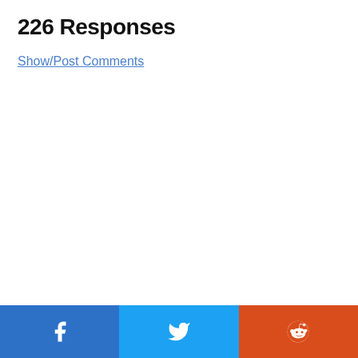226 Responses
Show/Post Comments
[Figure (infographic): Social share bar with three buttons: Facebook (blue), Twitter (light blue), Reddit (orange-red), each with their respective icons in white.]